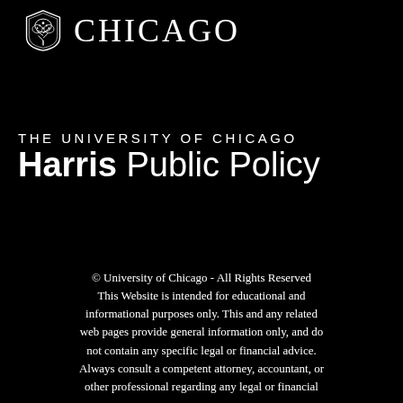[Figure (logo): University of Chicago shield logo with tree motif in white, followed by the word CHICAGO in large serif white uppercase letters]
THE UNIVERSITY OF CHICAGO Harris Public Policy
© University of Chicago - All Rights Reserved This Website is intended for educational and informational purposes only. This and any related web pages provide general information only, and do not contain any specific legal or financial advice. Always consult a competent attorney, accountant, or other professional regarding any legal or financial